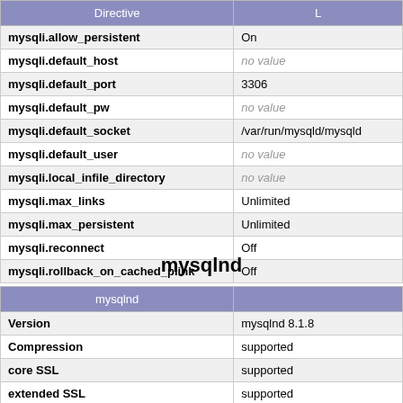| Directive | L… |
| --- | --- |
| mysqli.allow_persistent | On |
| mysqli.default_host | no value |
| mysqli.default_port | 3306 |
| mysqli.default_pw | no value |
| mysqli.default_socket | /var/run/mysqld/mysqld... |
| mysqli.default_user | no value |
| mysqli.local_infile_directory | no value |
| mysqli.max_links | Unlimited |
| mysqli.max_persistent | Unlimited |
| mysqli.reconnect | Off |
| mysqli.rollback_on_cached_plink | Off |
mysqlnd
| mysqlnd |  |
| --- | --- |
| Version | mysqlnd 8.1.8 |
| Compression | supported |
| core SSL | supported |
| extended SSL | supported |